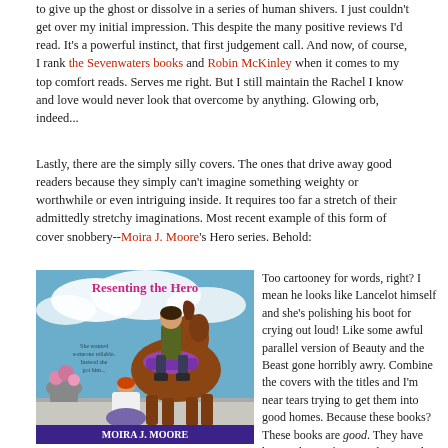to give up the ghost or dissolve in a series of human shivers. I just couldn't get over my initial impression. This despite the many positive reviews I'd read. It's a powerful instinct, that first judgement call. And now, of course, I rank the Sevenwaters books and Robin McKinley when it comes to my top comfort reads. Serves me right. But I still maintain the Rachel I know and love would never look that overcome by anything. Glowing orb, indeed...
Lastly, there are the simply silly covers. The ones that drive away good readers because they simply can't imagine something weighty or worthwhile or even intriguing inside. It requires too far a stretch of their admittedly stretchy imaginations. Most recent example of this form of cover snobbery--Moira J. Moore's Hero series. Behold:
[Figure (photo): Book cover of 'Resenting the Hero' by Moira J. Moore, showing a man on horseback and a woman kneeling below, with text 'She wanted someone reliable. Instead she got him...']
Too cartooney for words, right? I mean he looks like Lancelot himself and she's polishing his boot for crying out loud! Like some awful parallel version of Beauty and the Beast gone horribly awry. Combine the covers with the titles and I'm near tears trying to get them into good homes. Because these books? These books are good. They have heart. They're funny and extremely moving at times. They have a hero and heroine deserving of your love. Sometimes you pick up a book with a lame cover and